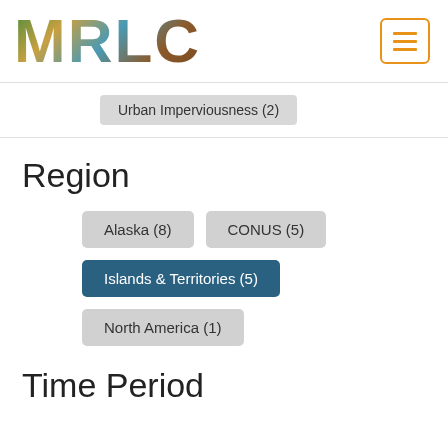[Figure (logo): MRLC logo with nature-themed letter fills (green trees, brown wood, blue water, brown soil)]
Urban Imperviousness (2)
Region
Alaska (8)
CONUS (5)
Islands & Territories (5)
North America (1)
Time Period